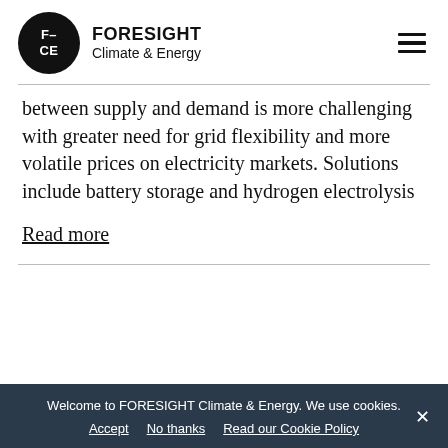FORESIGHT Climate & Energy
between supply and demand is more challenging with greater need for grid flexibility and more volatile prices on electricity markets. Solutions include battery storage and hydrogen electrolysis
Read more
Welcome to FORESIGHT Climate & Energy. We use cookies. Accept   No thanks   Read our Cookie Policy